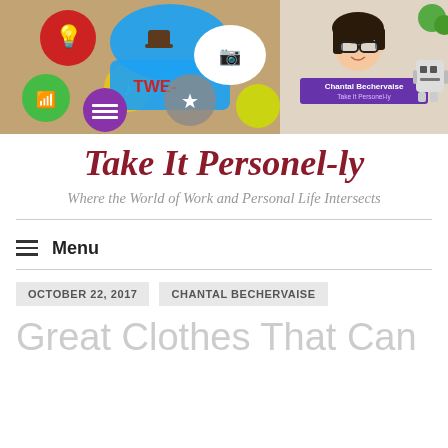[Figure (illustration): Blog header banner showing social media icons (lightbulb, wifi, music note, star, camera, speech bubbles) on a wooden desk background on the left, and a cartoon illustration of Chantal Bechervaise with glasses and dark hair with a 'Take It Personel-ly' label on the right]
Take It Personel-ly
Where the World of Work and Personal Life Intersects
≡ Menu
OCTOBER 22, 2017
CHANTAL BECHERVAISE
Great Clothes That Can